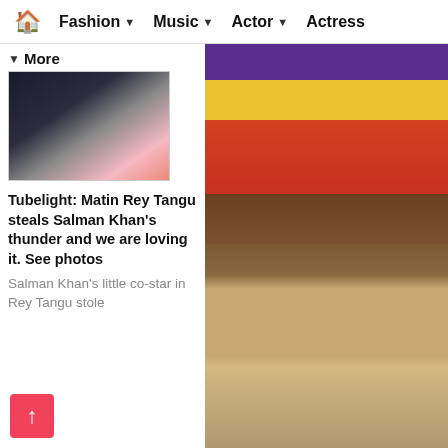🏠 Fashion ▾ Music ▾ Actor ▾ Actress
More
[Figure (photo): Thumbnail photo of Salman Khan with child actor Matin Rey Tangu at a press event]
Tubelight: Matin Rey Tangu steals Salman Khan's thunder and we are loving it. See photos
Salman Khan's little co-star in Rey Tangu stole
[Figure (photo): Woman in colorful traditional Indian lehenga with purple, yellow, and red colors with embroidery]
[Figure (photo): A couple and a child posing in formal attire at what appears to be an event venue]